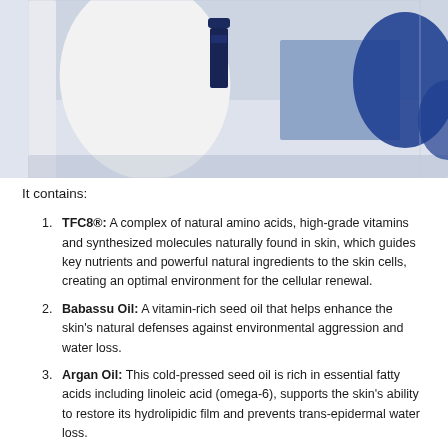[Figure (photo): Product photo showing a dark blue skincare bottle on a light blue/grey background with white ceramic shapes and a deep blue round object, arranged as a styled product shot.]
It contains:
TFC8®: A complex of natural amino acids, high-grade vitamins and synthesized molecules naturally found in skin, which guides key nutrients and powerful natural ingredients to the skin cells, creating an optimal environment for the cellular renewal.
Babassu Oil: A vitamin-rich seed oil that helps enhance the skin's natural defenses against environmental aggression and water loss.
Argan Oil: This cold-pressed seed oil is rich in essential fatty acids including linoleic acid (omega-6), supports the skin's ability to restore its hydrolipidic film and prevents trans-epidermal water loss.
Hazelnut Oil: Sourced from southwestern France, it is a nourishing oil that's high in omega fatty acid content and supports improved moisture retention.